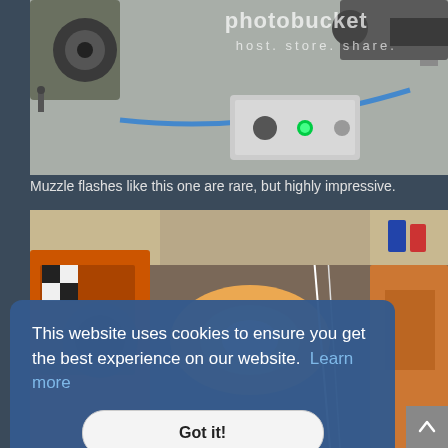[Figure (photo): Photo of mechanical/pneumatic equipment on a concrete surface with a blue cable, showing components including what appears to be a control panel with buttons and indicator lights. Photobucket watermark overlay visible.]
Muzzle flashes like this one are rare, but highly impressive.
[Figure (photo): Photo of industrial workshop/lab equipment with orange machinery and a bright flash of light/fire visible, possibly a muzzle flash demonstration.]
This website uses cookies to ensure you get the best experience on our website. Learn more
Got it!